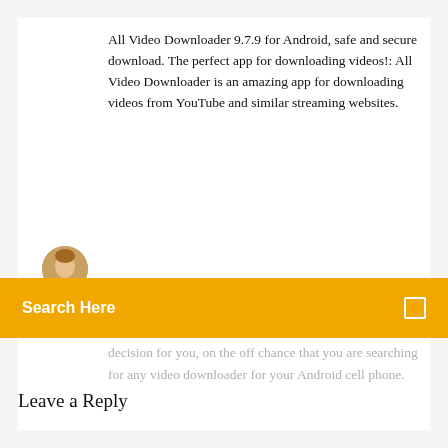All Video Downloader 9.7.9 for Android, safe and secure download. The perfect app for downloading videos!: All Video Downloader is an amazing app for downloading videos from YouTube and similar streaming websites.
[Figure (photo): Small circular avatar/profile image of a person's face]
Search Here
decision for you, on the off chance that you are searching for any video downloader for your Android cell phone.
Leave a Reply